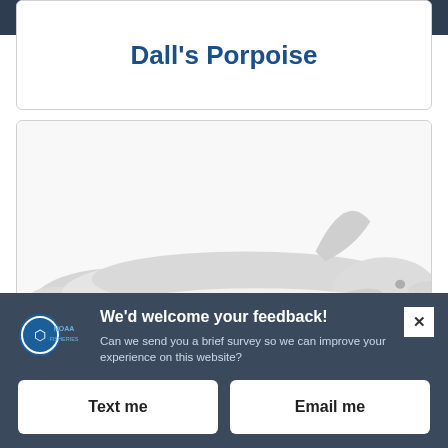Dall's Porpoise
[Figure (illustration): Illustration of a Dall's Porpoise, light gray/white coloration, shown in profile against white background]
We'd welcome your feedback!
Can we send you a brief survey so we can improve your experience on this website?
Text me
Email me
Powered by Verint Experience Cloud